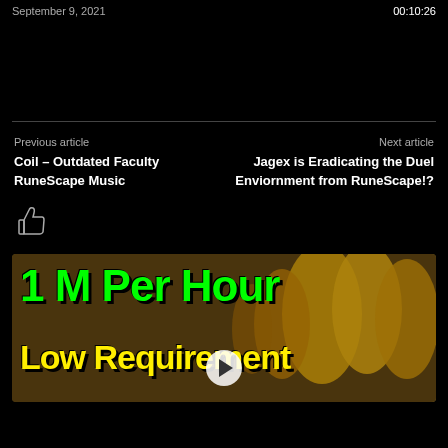September 9, 2021   00:10:26
Previous article
Coil – Outdated Faculty RuneScape Music
Next article
Jagex is Eradicating the Duel Enviornment from RuneScape!?
[Figure (illustration): Thumbs up like icon outline in white/grey on black background]
[Figure (screenshot): Video thumbnail showing '1 M Per Hour Low Requirement' text in green and yellow over a game background with yellow objects, with a play button in the center bottom]